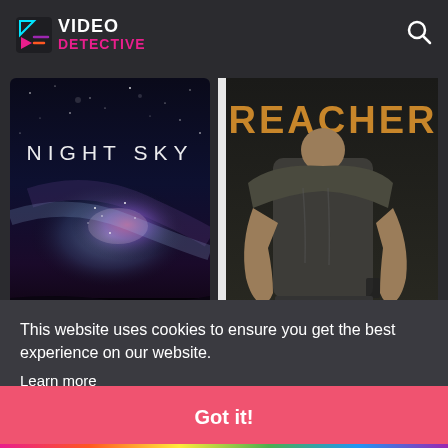VIDEO DETECTIVE
[Figure (screenshot): Night Sky movie poster — dark space background with Milky Way galaxy, text 'NIGHT SKY' in white letters]
[Figure (screenshot): Reacher TV series poster — muscular man from behind, golden text 'REACHER' across the top]
Night
Sci-Fi
88
This website uses cookies to ensure you get the best experience on our website.
Learn more
Got it!